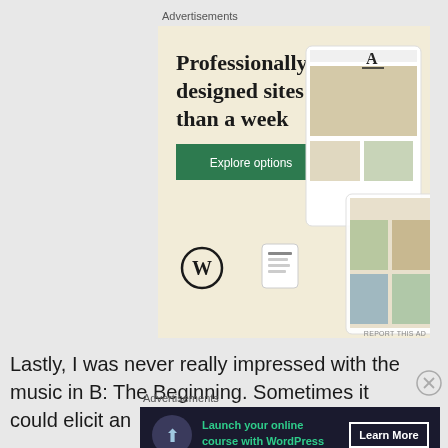Advertisements
[Figure (screenshot): WordPress advertisement showing 'Professionally designed sites in less than a week' with Explore options button, WordPress logo, and device mockups of websites on a cream background]
Lastly, I was never really impressed with the music in B: The Beginning. Sometimes it could elicit an
Advertisements
[Figure (screenshot): WordPress advertisement on dark background: 'Launch your online course with WordPress' with Learn More button]